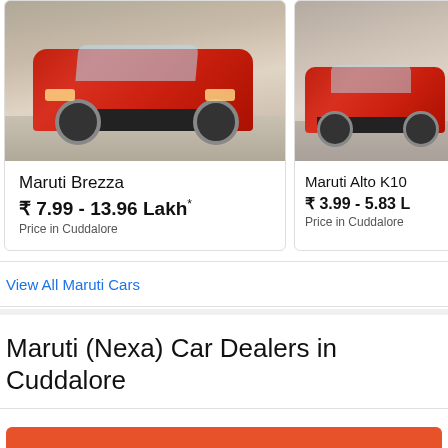[Figure (photo): Red Maruti Brezza SUV driving on road, front view]
Maruti Brezza
₹ 7.99 - 13.96 Lakh*
Price in Cuddalore
[Figure (photo): Red Maruti Alto K10 car driving on road, front-side view]
Maruti Alto K10
₹ 3.99 - 5.83 L
Price in Cuddalore
View All Maruti Cars
Maruti (Nexa) Car Dealers in Cuddalore
Check Current Offers